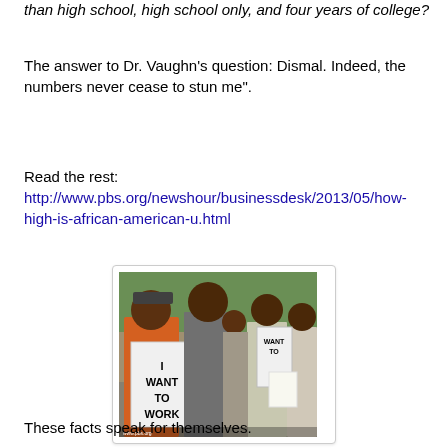than high school, high school only, and four years of college?
The answer to Dr. Vaughn's question: Dismal. Indeed, the numbers never cease to stun me".
Read the rest: http://www.pbs.org/newshour/businessdesk/2013/05/how-high-is-african-american-u.html
[Figure (photo): Protest photo showing a man in an orange shirt holding a sign that reads 'I WANT TO WORK', surrounded by other people in an outdoor setting.]
These facts speak for themselves.